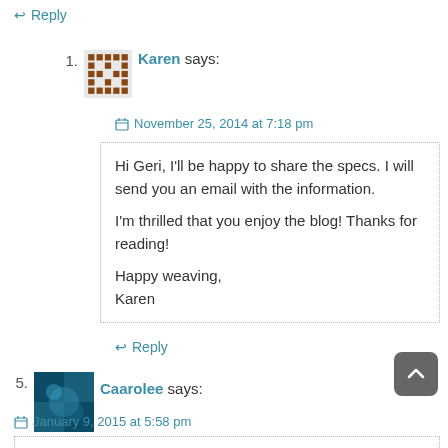↩ Reply
1. Karen says:
November 25, 2014 at 7:18 pm
Hi Geri, I'll be happy to share the specs. I will send you an email with the information.

I'm thrilled that you enjoy the blog! Thanks for reading!

Happy weaving,
Karen
↩ Reply
5. Caarolee says:
January 9, 2015 at 5:58 pm
Do you sell the band weaving shuttles on etsy that your husband makes? Would love to buy a few. 🙂
Thanks,